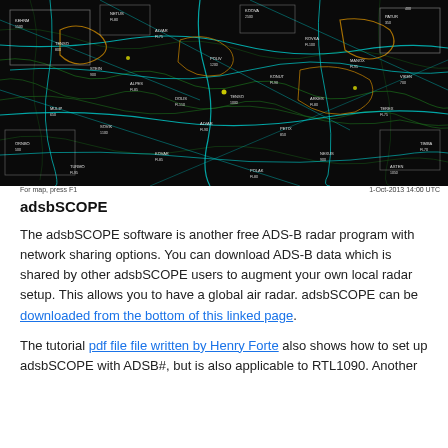[Figure (screenshot): Screenshot of adsbSCOPE radar software showing a dark map with air traffic radar overlays — cyan, green, and orange lines and labels showing aircraft positions and airways over a geographic area.]
For map, press F1   1-Oct-2013  14:00 UTC
adsbSCOPE
The adsbSCOPE software is another free ADS-B radar program with network sharing options. You can download ADS-B data which is shared by other adsbSCOPE users to augment your own local radar setup. This allows you to have a global air radar. adsbSCOPE can be downloaded from the bottom of this linked page.
The tutorial pdf file file written by Henry Forte also shows how to set up adsbSCOPE with ADSB#, but is also applicable to RTL1090. Another